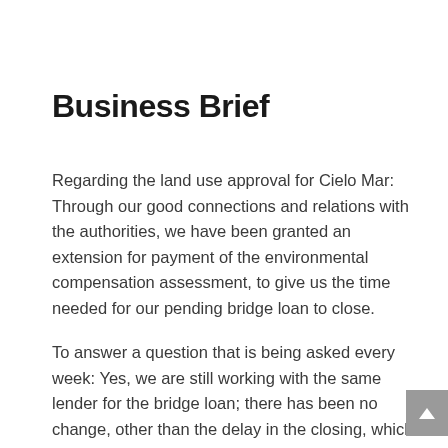Business Brief
Regarding the land use approval for Cielo Mar: Through our good connections and relations with the authorities, we have been granted an extension for payment of the environmental compensation assessment, to give us the time needed for our pending bridge loan to close.
To answer a question that is being asked every week: Yes, we are still working with the same lender for the bridge loan; there has been no change, other than the delay in the closing, which has nothing to do with ProGreen. They have had